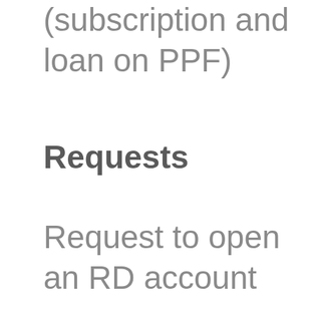(subscription and loan on PPF)
Requests
Request to open an RD account